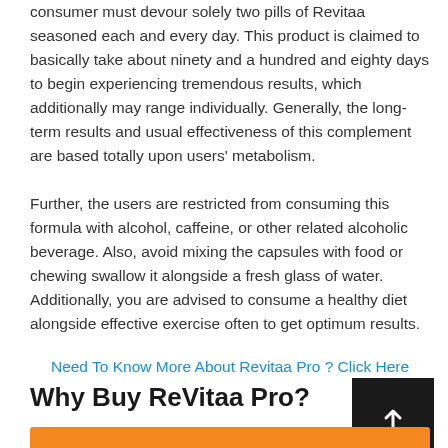consumer must devour solely two pills of Revitaa seasoned each and every day. This product is claimed to basically take about ninety and a hundred and eighty days to begin experiencing tremendous results, which additionally may range individually. Generally, the long-term results and usual effectiveness of this complement are based totally upon users' metabolism.
Further, the users are restricted from consuming this formula with alcohol, caffeine, or other related alcoholic beverage. Also, avoid mixing the capsules with food or chewing swallow it alongside a fresh glass of water. Additionally, you are advised to consume a healthy diet alongside effective exercise often to get optimum results.
Need To Know More About Revitaa Pro ? Click Here
Why Buy ReVitaa Pro?